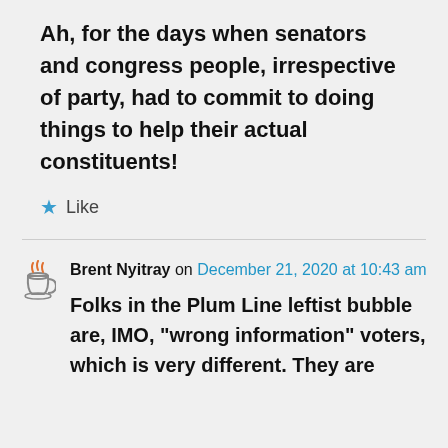Ah, for the days when senators and congress people, irrespective of party, had to commit to doing things to help their actual constituents!
★ Like
Brent Nyitray on December 21, 2020 at 10:43 am
Folks in the Plum Line leftist bubble are, IMO, "wrong information" voters, which is very different. They are